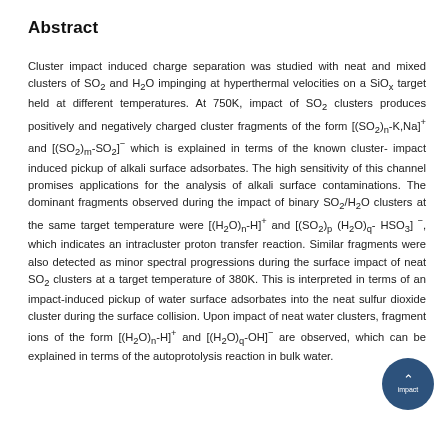Abstract
Cluster impact induced charge separation was studied with neat and mixed clusters of SO2 and H2O impinging at hyperthermal velocities on a SiOx target held at different temperatures. At 750K, impact of SO2 clusters produces positively and negatively charged cluster fragments of the form [(SO2)n-K,Na]+ and [(SO2)m-SO2]- which is explained in terms of the known cluster-impact induced pickup of alkali surface adsorbates. The high sensitivity of this channel promises applications for the analysis of alkali surface contaminations. The dominant fragments observed during the impact of binary SO2/H2O clusters at the same target temperature were [(H2O)n-H]+ and [(SO2)p (H2O)q-HSO3]-, which indicates an intracluster proton transfer reaction. Similar fragments were also detected as minor spectral progressions during the surface impact of neat SO2 clusters at a target temperature of 380K. This is interpreted in terms of an impact-induced pickup of water surface adsorbates into the neat sulfur dioxide cluster during the surface collision. Upon impact of neat water clusters, fragment ions of the form [(H2O)n-H]+ and [(H2O)q-OH]- are observed, which can be explained in terms of the autoprotolysis reaction in bulk water.